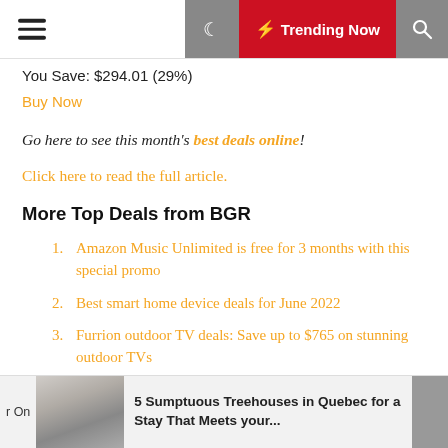Trending Now
You Save: $294.01 (29%)
Buy Now
Go here to see this month's best deals online!
Click here to read the full article.
More Top Deals from BGR
Amazon Music Unlimited is free for 3 months with this special promo
Best smart home device deals for June 2022
Furrion outdoor TV deals: Save up to $765 on stunning outdoor TVs
5 Sumptuous Treehouses in Quebec for a Stay That Meets your...